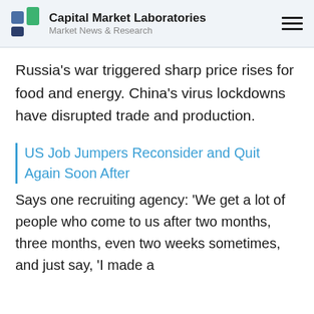Capital Market Laboratories | Market News & Research
Russia's war triggered sharp price rises for food and energy. China's virus lockdowns have disrupted trade and production.
US Job Jumpers Reconsider and Quit Again Soon After
Says one recruiting agency: ‘We get a lot of people who come to us after two months, three months, even two weeks sometimes, and just say, ‘I made a